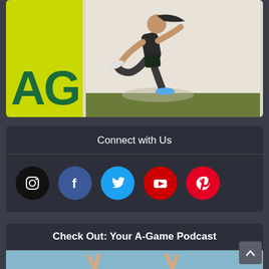[Figure (photo): Top card showing a runner on a yellow-green background with 'AG' text in dark green on the left side]
Connect with Us
[Figure (infographic): Row of social media icons: Instagram (black), Facebook (blue), Twitter (light blue), YouTube (red), Pinterest (red)]
Check Out: Your A-Game Podcast
[Figure (photo): Podcast thumbnail showing two hands making peace signs on a light blue background with cursive text]